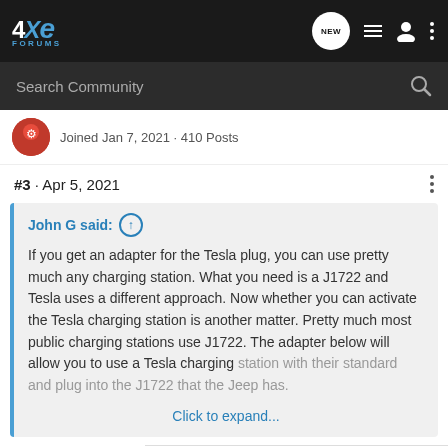4XE Forums — Search Community
Joined Jan 7, 2021 · 410 Posts
#3 · Apr 5, 2021
John G said: ↑
If you get an adapter for the Tesla plug, you can use pretty much any charging station. What you need is a J1722 and Tesla uses a different approach. Now whether you can activate the Tesla charging station is another matter. Pretty much most public charging stations use J1722. The adapter below will allow you to use a Tesla charging station with their standard and plug into the J1722 that the Jeep has.
Click to expand...
Just to a...rk on level 2, ...the